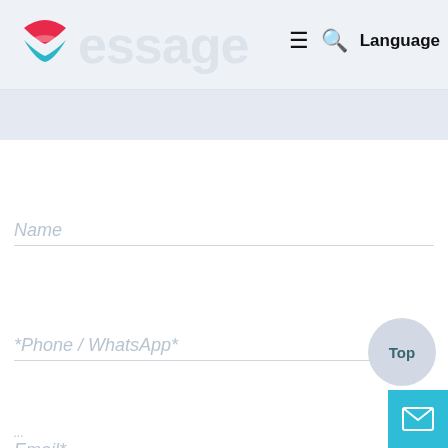[Figure (logo): Circular logo with red and teal/cyan swoosh design]
Message
≡  🔍  Language
Name
Phone / WhatsApp*
Email*
Top
[Figure (screenshot): Mail envelope icon in a teal square button]